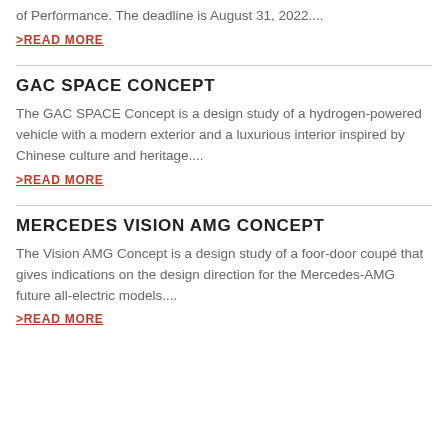of Performance. The deadline is August 31, 2022....
>READ MORE
GAC SPACE CONCEPT
The GAC SPACE Concept is a design study of a hydrogen-powered vehicle with a modern exterior and a luxurious interior inspired by Chinese culture and heritage....
>READ MORE
MERCEDES VISION AMG CONCEPT
The Vision AMG Concept is a design study of a foor-door coupé that gives indications on the design direction for the Mercedes-AMG future all-electric models....
>READ MORE